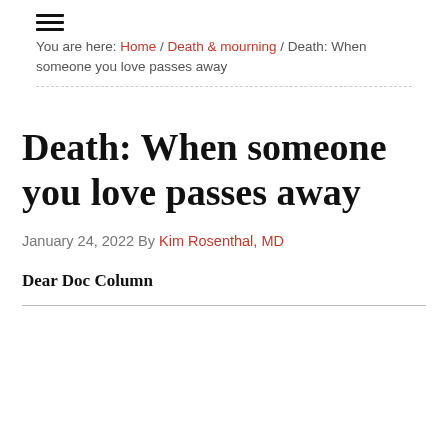You are here: Home / Death & mourning / Death: When someone you love passes away
Death: When someone you love passes away
January 24, 2022 By Kim Rosenthal, MD
Dear Doc Column